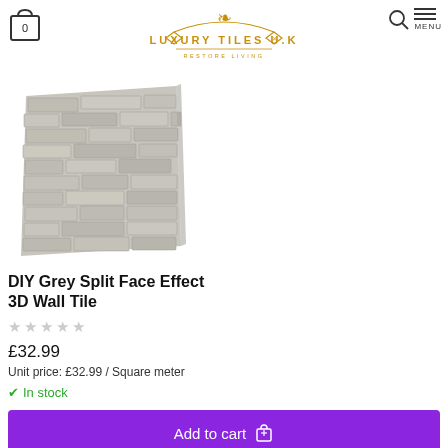[Figure (logo): Luxury Tiles U.K ornate gold logo with decorative crown and scrollwork]
[Figure (photo): DIY Grey Split Face Effect 3D Wall Tile product photo showing grey stone-effect wall panel]
DIY Grey Split Face Effect 3D Wall Tile
£32.99
Unit price: £32.99 / Square meter
✓ In stock
Add to cart